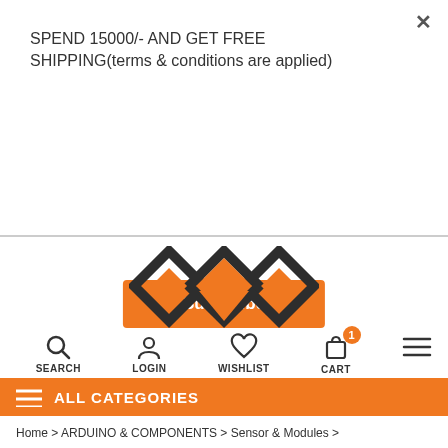SPEND 15000/- AND GET FREE SHIPPING(terms & conditions are applied)
[Figure (other): Subscribe button (orange rounded rectangle)]
[Figure (logo): Electronics Hub logo: three interlocked diamond shapes in black and orange, brand name 'Electronics Hub' in orange, tagline 'We Display with Pride' in black bold]
[Figure (infographic): Navigation icon bar with SEARCH, LOGIN, WISHLIST, CART (with badge showing 1), and hamburger menu icons]
ALL CATEGORIES
Home › ARDUINO & COMPONENTS › Sensor & Modules ›